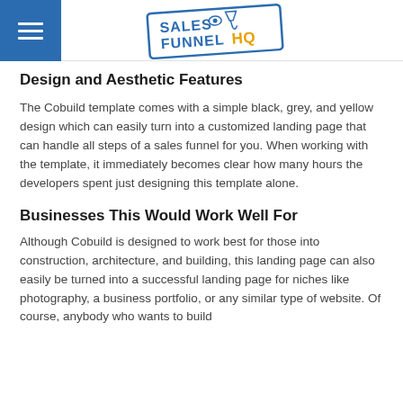Sales Funnel HQ
Design and Aesthetic Features
The Cobuild template comes with a simple black, grey, and yellow design which can easily turn into a customized landing page that can handle all steps of a sales funnel for you. When working with the template, it immediately becomes clear how many hours the developers spent just designing this template alone.
Businesses This Would Work Well For
Although Cobuild is designed to work best for those into construction, architecture, and building, this landing page can also easily be turned into a successful landing page for niches like photography, a business portfolio, or any similar type of website. Of course, anybody who wants to build